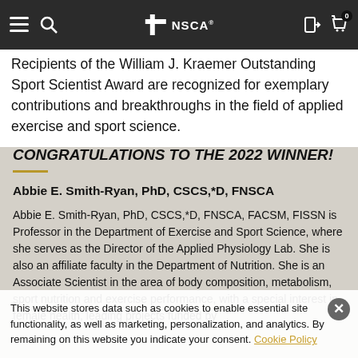NSCA navigation bar with menu, search, logo, login, and cart icons
Recipients of the William J. Kraemer Outstanding Sport Scientist Award are recognized for exemplary contributions and breakthroughs in the field of applied exercise and sport science.
CONGRATULATIONS TO THE 2022 WINNER!
Abbie E. Smith-Ryan, PhD, CSCS,*D, FNSCA
Abbie E. Smith-Ryan, PhD, CSCS,*D, FNSCA, FACSM, FISSN is Professor in the Department of Exercise and Sport Science, where she serves as the Director of the Applied Physiology Lab. She is also an affiliate faculty in the Department of Nutrition. She is an Associate Scientist in the area of body composition, metabolism, sport nutrition and exercise performance, with a special interest in female health, leading projects funded by the National Institutes of Health.
This website stores data such as cookies to enable essential site functionality, as well as marketing, personalization, and analytics. By remaining on this website you indicate your consent. Cookie Policy